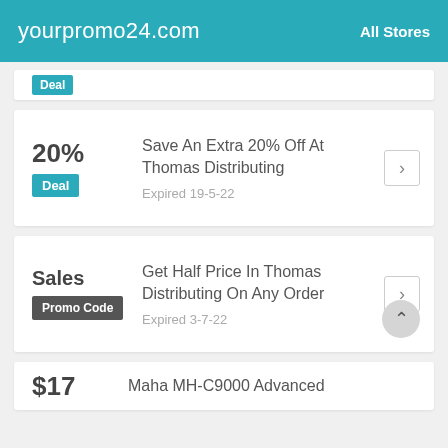yourpromo24.com | All Stores
20% | Deal | Save An Extra 20% Off At Thomas Distributing | Expired 19-5-22
Sales | Promo Code | Get Half Price In Thomas Distributing On Any Order | Expired 3-7-22
$17 | Maha MH-C9000 Advanced